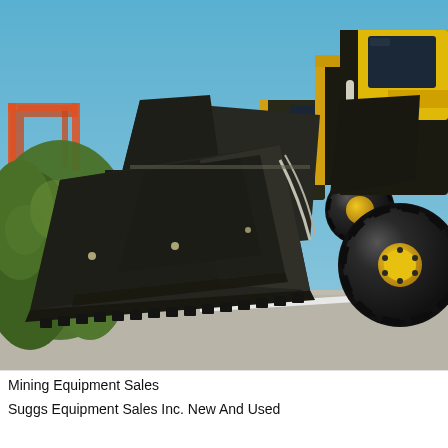[Figure (photo): A row of yellow and black wheel loaders with dark front buckets parked in a lot, with green vegetation on the left, an orange crane structure in the background, and a blue sky. The machines are lined up diagonally showing their front loader buckets prominently.]
Mining Equipment Sales
Suggs Equipment Sales Inc. New And Used